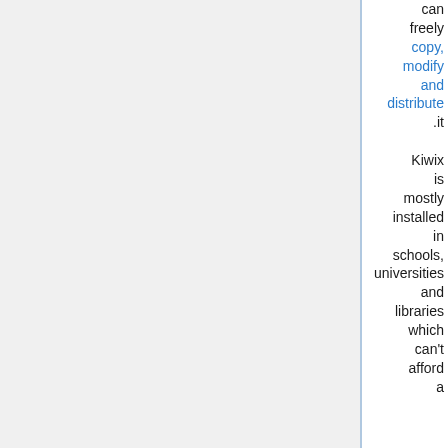can freely copy, modify and distribute .it Kiwix is mostly installed in schools, universities and libraries which can't afford a